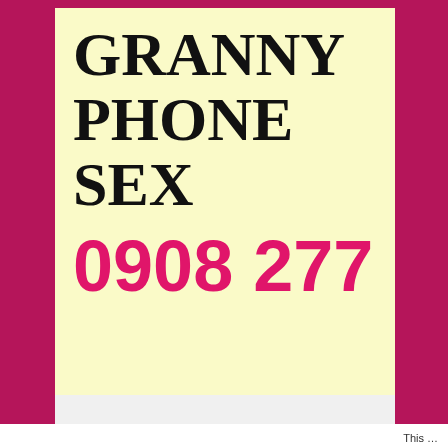GRANNY PHONE SEX
0908 277 1540
(call cost 35p per minute + your phone company's access charge)